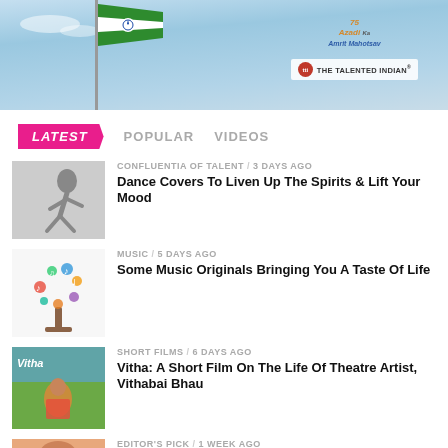[Figure (photo): Banner image with Indian flag, blue sky, Azadi Ka Amrit Mahotsav logo and The Talented Indian logo]
LATEST   POPULAR   VIDEOS
[Figure (photo): Black and white photo of a dancer]
CONFLUENTIA OF TALENT / 3 days ago
Dance Covers To Liven Up The Spirits & Lift Your Mood
[Figure (illustration): Colorful music tree illustration with musical notes]
MUSIC / 5 days ago
Some Music Originals Bringing You A Taste Of Life
[Figure (photo): Vitha short film poster with woman in colorful traditional attire]
SHORT FILMS / 6 days ago
Vitha: A Short Film On The Life Of Theatre Artist, Vithabai Bhau
[Figure (photo): Partial thumbnail at bottom, Editor's Pick article]
EDITOR'S PICK / 1 week ago